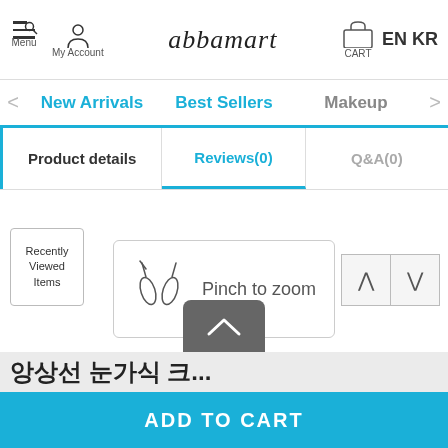Menu  My Account  abbamart  CART  EN KR
New Arrivals  Best Sellers  Makeup
Product details  Reviews(0)  Q&A(0)
[Figure (illustration): Pinch to zoom icon with two fingers and text 'Pinch to zoom']
Recently Viewed Items
앙상선 눈가식 크...
ADD TO CART